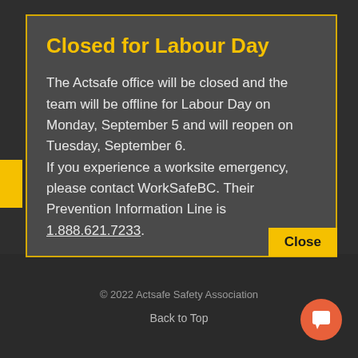Closed for Labour Day
The Actsafe office will be closed and the team will be offline for Labour Day on Monday, September 5 and will reopen on Tuesday, September 6.
If you experience a worksite emergency, please contact WorkSafeBC. Their Prevention Information Line is 1.888.621.7233.
© 2022 Actsafe Safety Association
Back to Top